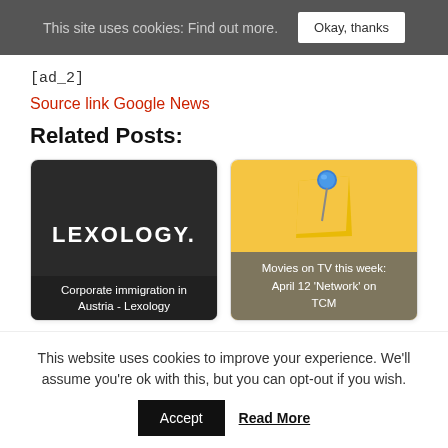This site uses cookies: Find out more. Okay, thanks
[ad_2]
Source link Google News
Related Posts:
[Figure (screenshot): Lexology logo card with text: Corporate immigration in Austria - Lexology]
[Figure (screenshot): Sticky note with pin image, text: Movies on TV this week: April 12 'Network' on TCM]
This website uses cookies to improve your experience. We'll assume you're ok with this, but you can opt-out if you wish. Accept Read More